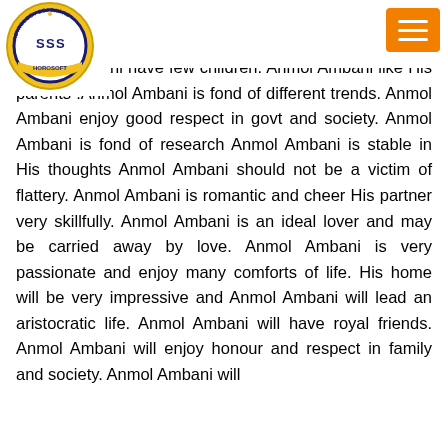Astrology Software logo and menu button
tement .Anmol Ambani is fond of arts. Anmol Ambani is very confident of His ability. Anmol Ambani have few children. Anmol Ambani like His parents .Anmol Ambani is fond of different trends. Anmol Ambani enjoy good respect in govt and society. Anmol Ambani is fond of research Anmol Ambani is stable in His thoughts Anmol Ambani should not be a victim of flattery. Anmol Ambani is romantic and cheer His partner very skillfully. Anmol Ambani is an ideal lover and may be carried away by love. Anmol Ambani is very passionate and enjoy many comforts of life. His home will be very impressive and Anmol Ambani will lead an aristocratic life. Anmol Ambani will have royal friends. Anmol Ambani will enjoy honour and respect in family and society. Anmol Ambani will